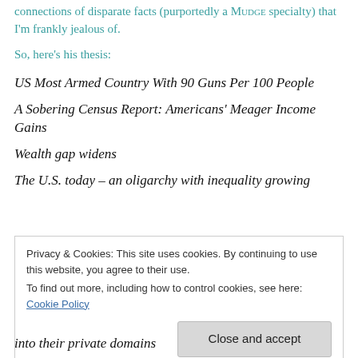connections of disparate facts (purportedly a MUDGE specialty) that I'm frankly jealous of.
So, here's his thesis:
US Most Armed Country With 90 Guns Per 100 People
A Sobering Census Report: Americans' Meager Income Gains
Wealth gap widens
The U.S. today – an oligarchy with inequality growing
Privacy & Cookies: This site uses cookies. By continuing to use this website, you agree to their use.
To find out more, including how to control cookies, see here: Cookie Policy
into their private domains